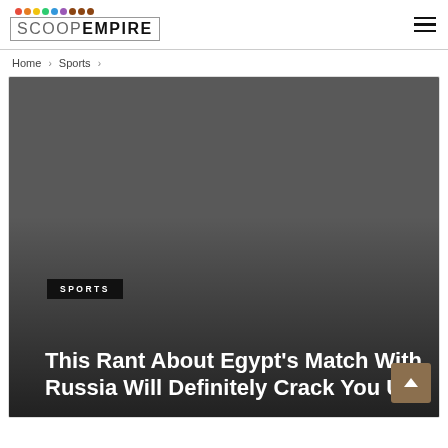SCOOPEMPIRE
Home > Sports >
[Figure (photo): Dark grey placeholder hero image for a sports article about Egypt's match with Russia, with a SPORTS badge and white bold title text overlaid at the bottom.]
This Rant About Egypt's Match With Russia Will Definitely Crack You Up!